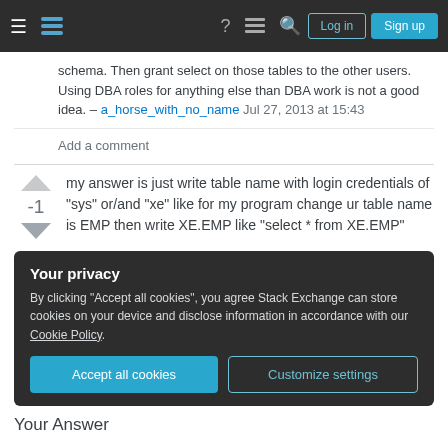Stack Exchange navigation bar with Log in and Sign up buttons
schema. Then grant select on those tables to the other users. Using DBA roles for anything else than DBA work is not a good idea. – a_horse_with_no_name Jul 27, 2013 at 15:43
Add a comment
my answer is just write table name with login credentials of "sys" or/and "xe" like for my program change ur table name is EMP then write XE.EMP like "select * from XE.EMP"
Your privacy
By clicking "Accept all cookies", you agree Stack Exchange can store cookies on your device and disclose information in accordance with our Cookie Policy.
Accept all cookies  Customize settings
Your Answer